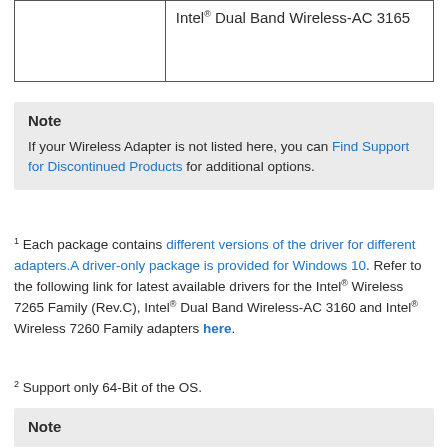|  |  |
| --- | --- |
|  | Intel® Dual Band Wireless-AC 3165 |
Note

If your Wireless Adapter is not listed here, you can Find Support for Discontinued Products for additional options.
¹ Each package contains different versions of the driver for different adapters.A driver-only package is provided for Windows 10. Refer to the following link for latest available drivers for the Intel® Wireless 7265 Family (Rev.C), Intel® Dual Band Wireless-AC 3160 and Intel® Wireless 7260 Family adapters here.
² Support only 64-Bit of the OS.
Note